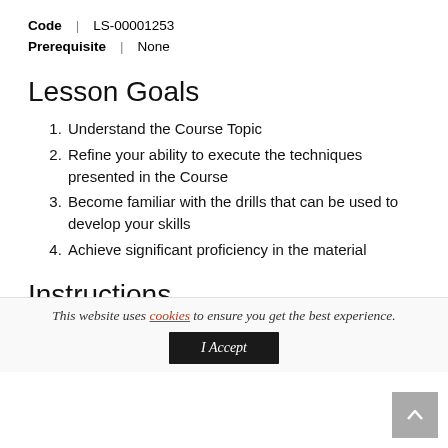Code | LS-00001253
Prerequisite | None
Lesson Goals
Understand the Course Topic
Refine your ability to execute the techniques presented in the Course
Become familiar with the drills that can be used to develop your skills
Achieve significant proficiency in the material
Instructions
This website uses cookies to ensure you get the best experience.
I Accept